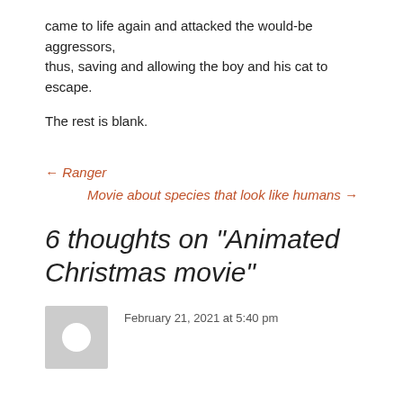came to life again and attacked the would-be aggressors, thus, saving and allowing the boy and his cat to escape.
The rest is blank.
← Ranger
Movie about species that look like humans →
6 thoughts on “Animated Christmas movie”
February 21, 2021 at 5:40 pm